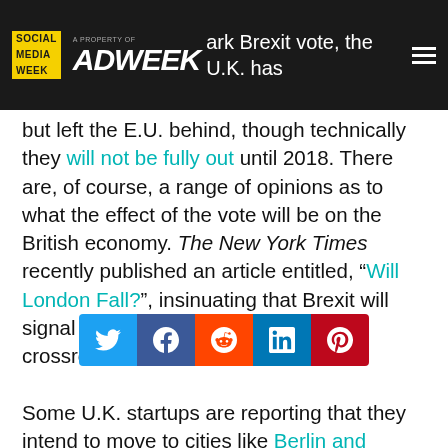Social Media Week | A Property of Adweek
...for the way first. ark Brexit vote, the U.K. has but left the E.U. behind, though technically they will not be fully out until 2018. There are, of course, a range of opinions as to what the effect of the vote will be on the British economy. The New York Times recently published an article entitled, “Will London Fall?”, insinuating that Brexit will signal the end of London as a global crossroads.

Some U.K. startups are reporting that they intend to move to cities like Berlin and Lisbon following the vote. Others, pointing to lighter regulation ...lower corporate tax rates, believe that London will continue to thrive.